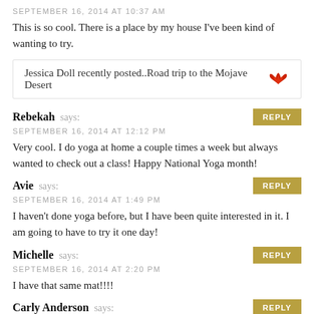SEPTEMBER 16, 2014 AT 10:37 AM
This is so cool. There is a place by my house I've been kind of wanting to try.
Jessica Doll recently posted..Road trip to the Mojave Desert
Rebekah says:
SEPTEMBER 16, 2014 AT 12:12 PM
Very cool. I do yoga at home a couple times a week but always wanted to check out a class! Happy National Yoga month!
Avie says:
SEPTEMBER 16, 2014 AT 1:49 PM
I haven't done yoga before, but I have been quite interested in it. I am going to have to try it one day!
Michelle says:
SEPTEMBER 16, 2014 AT 2:20 PM
I have that same mat!!!!
Carly Anderson says: